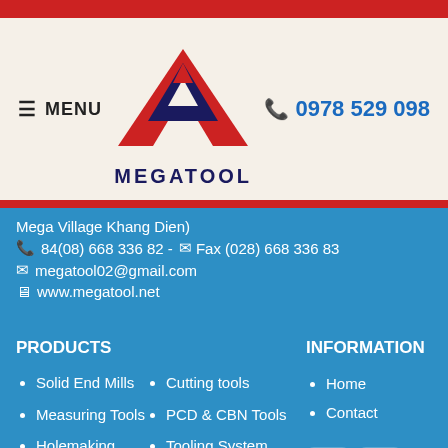[Figure (logo): Megatool logo with red and navy triangle M shape and MEGATOOL text below]
≡ MENU
📞 0978 529 098
Mega Village Khang Dien)
📞 84(08) 668 336 82 - ✉ Fax (028) 668 336 83
✉ megatool02@gmail.com
🖥 www.megatool.net
PRODUCTS
Solid End Mills
Cutting tools
Measuring Tools
PCD & CBN Tools
Holemaking
Tooling System
INFORMATION
Home
Contact
[Figure (other): Social media icons: Facebook, YouTube, Twitter]